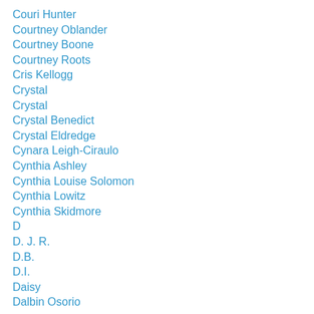Couri Hunter
Courtney Oblander
Courtney Boone
Courtney Roots
Cris Kellogg
Crystal
Crystal
Crystal Benedict
Crystal Eldredge
Cynara Leigh-Ciraulo
Cynthia Ashley
Cynthia Louise Solomon
Cynthia Lowitz
Cynthia Skidmore
D
D. J. R.
D.B.
D.I.
Daisy
Dalbin Osorio